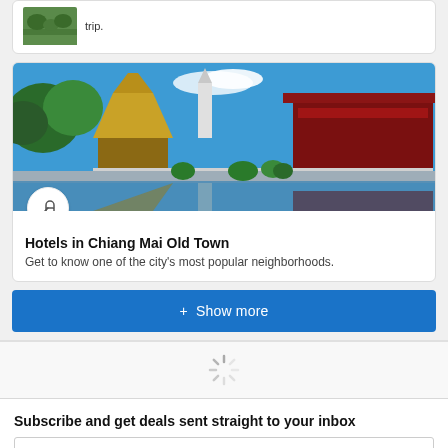[Figure (photo): Small card with green landscape thumbnail and text about a trip]
[Figure (photo): Temple in Chiang Mai Old Town with reflection in water, golden and red architecture with blue sky]
Hotels in Chiang Mai Old Town
Get to know one of the city's most popular neighborhoods.
+ Show more
[Figure (other): Loading spinner]
Subscribe and get deals sent straight to your inbox